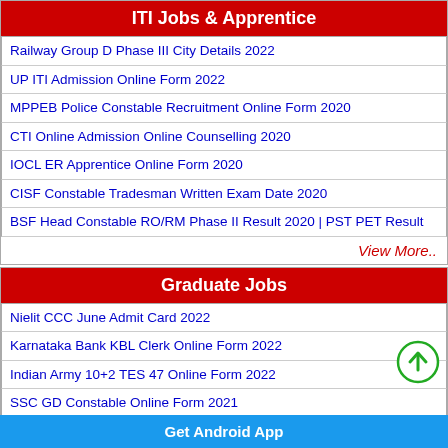ITI Jobs & Apprentice
Railway Group D Phase III City Details 2022
UP ITI Admission Online Form 2022
MPPEB Police Constable Recruitment Online Form 2020
CTI Online Admission Online Counselling 2020
IOCL ER Apprentice Online Form 2020
CISF Constable Tradesman Written Exam Date 2020
BSF Head Constable RO/RM Phase II Result 2020 | PST PET Result
View More..
Graduate Jobs
Nielit CCC June Admit Card 2022
Karnataka Bank KBL Clerk Online Form 2022
Indian Army 10+2 TES 47 Online Form 2022
SSC GD Constable Online Form 2021
CSJM Kanpur University BA Result 2020
Railway RRB NTPC Various Post Admit Card 2020
Get Android App